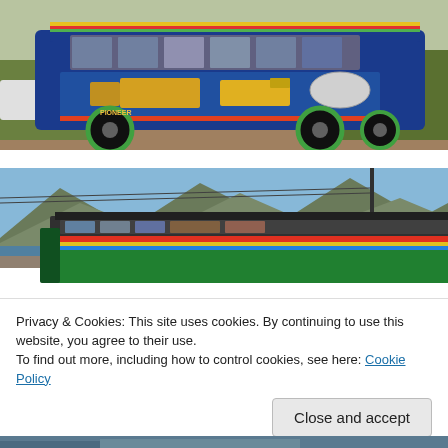[Figure (photo): A colorful decorated jeepney (Filipino public transport vehicle) parked on a dirt road with trees and hills in the background. The vehicle is painted blue with yellow, red, and green designs including a truck mural on the side.]
[Figure (photo): A colorful green decorated bus/jeepney on a mountain road with blue sky, mountains, and a body of water visible in the background. Power lines cross the image.]
Privacy & Cookies: This site uses cookies. By continuing to use this website, you agree to their use.
To find out more, including how to control cookies, see here: Cookie Policy
[Figure (photo): Partial view of another vehicle or scene at the bottom of the page, cropped.]